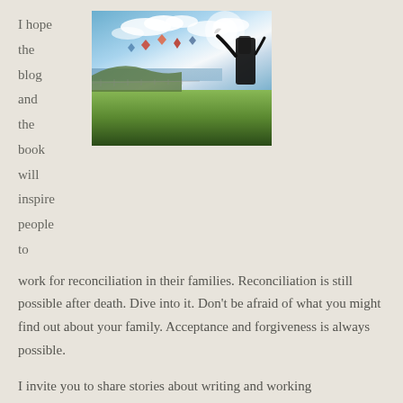I hope the blog and the book will inspire people to
[Figure (photo): Outdoor photo showing a person holding up kites or birds against a blue sky with clouds, with a green field and coastal landscape in the background.]
work for reconciliation in their families. Reconciliation is still possible after death. Dive into it. Don't be afraid of what you might find out about your family. Acceptance and forgiveness is always possible.
I invite you to share stories about writing and working